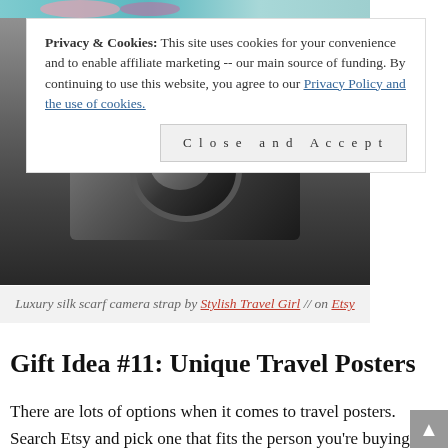[Figure (photo): Partial view of a luxury silk scarf camera strap with floral pattern and a camera body, shown against a dark background. Only the lower portion is visible as a cookie consent overlay covers the top.]
Privacy & Cookies: This site uses cookies for your convenience and to enable affiliate marketing -- our main source of funding. By continuing to use this website, you agree to our Privacy Policy and the use of cookies.
Close and Accept
Luxury silk scarf camera strap by Stylish Travel Girl // on Etsy
Gift Idea #11: Unique Travel Posters
There are lots of options when it comes to travel posters. Search Etsy and pick one that fits the person you're buying for, whether it's a location they're passionate about or a poster with a look that fits their home decor, you should be able to find something that suits your